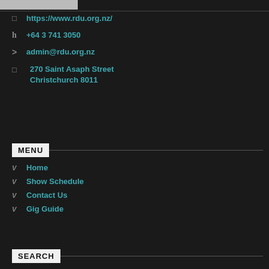[Figure (other): Top navigation bar with a light gray rectangle on the left side against a dark background]
https://www.rdu.org.nz/
+64 3 741 3050
admin@rdu.org.nz
270 Saint Asaph Street
Christchurch 8011
MENU
Home
Show Schedule
Contact Us
Gig Guide
SEARCH